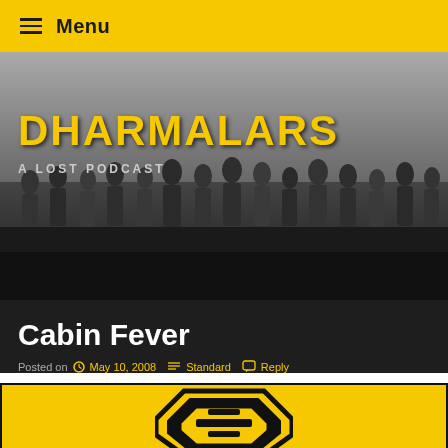Menu
[Figure (photo): Hero banner with grayscale photo of many people (LOST cast) standing in a row, with yellow DHARMALARS title and 'A LOST PODCAST' subtitle overlaid]
Cabin Fever
Posted on  May 10, 2008   Standard   Reply
[Figure (logo): Yellow and black DHARMA Initiative octagonal logo on yellow background]